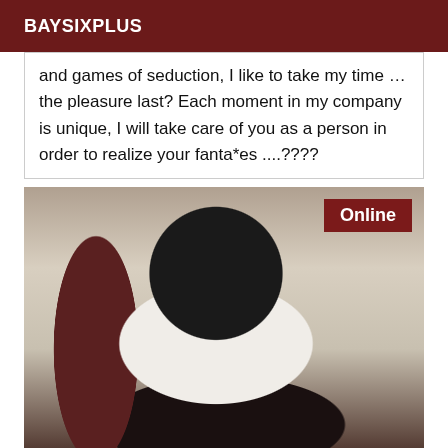BAYSIXPLUS
and games of seduction, I like to take my time to make the pleasure last? Each moment in my company is unique, I will take care of you as a person in order to realize your fanta*es ....????
[Figure (photo): A person posing on a bed, wearing a white outfit, photographed from behind. An 'Online' badge appears in the top-right corner of the image.]